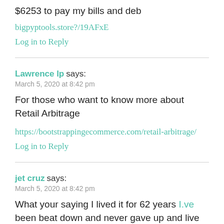$6253 to pay my bills and deb
bigpyptools.store?/19AFxE
Log in to Reply
Lawrence lp says:
March 5, 2020 at 8:42 pm
For those who want to know more about Retail Arbitrage
https://bootstrappingecommerce.com/retail-arbitrage/
Log in to Reply
jet cruz says:
March 5, 2020 at 8:42 pm
What your saying I lived it for 62 years I.ve been beat down and never gave up and live open my own…